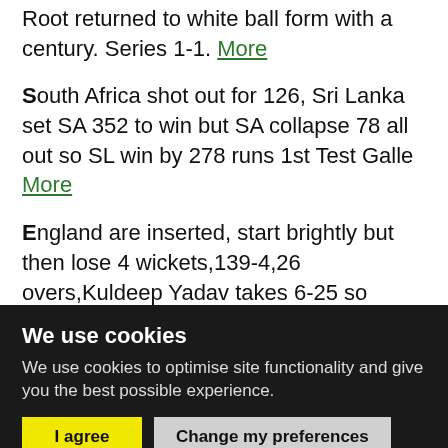Root returned to white ball form with a century. Series 1-1. More
South Africa shot out for 126, Sri Lanka set SA 352 to win but SA collapse 78 all out so SL win by 278 runs 1st Test Galle More
England are inserted, start brightly but then lose 4 wickets,139-4,26 overs,Kuldeep Yadav takes 6-25 so England post a modest 268. India easily chase down target with 10 overs
We use cookies
We use cookies to optimise site functionality and give you the best possible experience.
I agree
Change my preferences